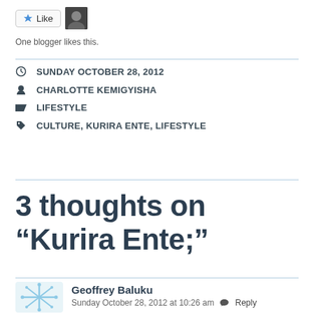[Figure (other): Like button with star icon and a blogger avatar thumbnail]
One blogger likes this.
SUNDAY OCTOBER 28, 2012
CHARLOTTE KEMIGYISHA
LIFESTYLE
CULTURE, KURIRA ENTE, LIFESTYLE
3 thoughts on “Kurira Ente;”
Geoffrey Baluku
Sunday October 28, 2012 at 10:26 am  Reply